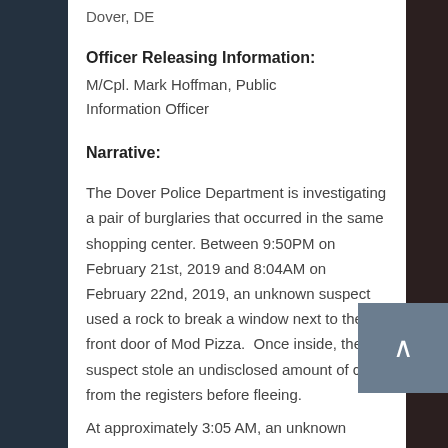Dover, DE
Officer Releasing Information:
M/Cpl. Mark Hoffman, Public Information Officer
Narrative:
The Dover Police Department is investigating a pair of burglaries that occurred in the same shopping center. Between 9:50PM on February 21st, 2019 and 8:04AM on February 22nd, 2019, an unknown suspect used a rock to break a window next to the front door of Mod Pizza.  Once inside, the suspect stole an undisclosed amount of cash from the registers before fleeing.
At approximately 3:05 AM, an unknown